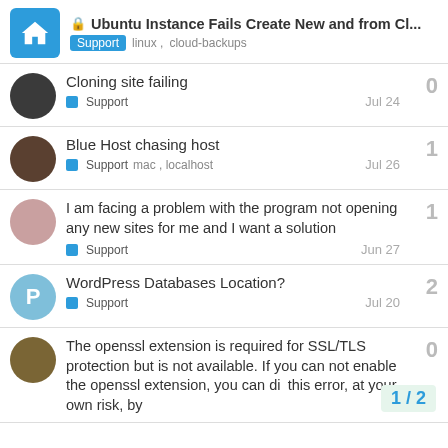Ubuntu Instance Fails Create New and from Cl... Support linux, cloud-backups
Cloning site failing — Support — Jul 24 — 0
Blue Host chasing host — Support mac, localhost — Jul 26 — 1
I am facing a problem with the program not opening any new sites for me and I want a solution — Support — Jun 27 — 1
WordPress Databases Location? — Support — Jul 20 — 2
The openssl extension is required for SSL/TLS protection but is not available. If you can not enable the openssl extension, you can di... this error, at your own risk, by — 0
1 / 2